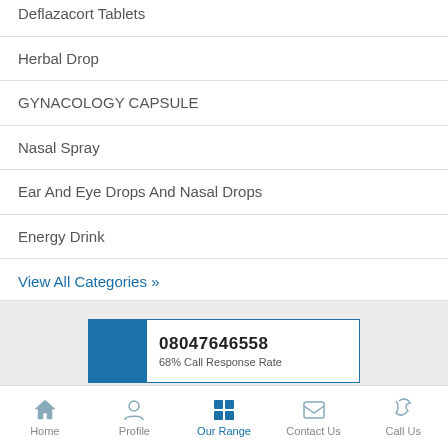Deflazacort Tablets
Herbal Drop
GYNACOLOGY CAPSULE
Nasal Spray
Ear And Eye Drops And Nasal Drops
Energy Drink
View All Categories »
[Figure (infographic): Phone number card with blue block on left showing 08047646558 and 68% Call Response Rate]
[Figure (infographic): Get Callback card with blue block on left]
Home | Profile | Our Range | Contact Us | Call Us